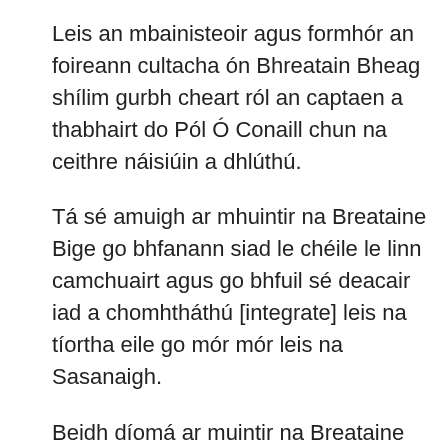Leis an mbainisteoir agus formhór an foireann cultacha ón Bhreatain Bheag shílim gurbh cheart ról an captaen a thabhairt do Pól Ó Conaill chun na ceithre náisiúin a dhlúthú.
Tá sé amuigh ar mhuintir na Breataine Bige go bhfanann siad le chéile le linn camchuairt agus go bhfuil sé deacair iad a chomhtháthú [integrate] leis na tíortha eile go mór mór leis na Sasanaigh.
Beidh díomá ar muintir na Breataine gur chaill Chris Robshaw amach ach tá an-iomaíocht san líne chúil [back row]. Seans, b'fhéidir dár mbuail an Breatain ar an Breatain Bheag san cluiche cinniúnach sin ag deireadh an chomórtais i Stáid